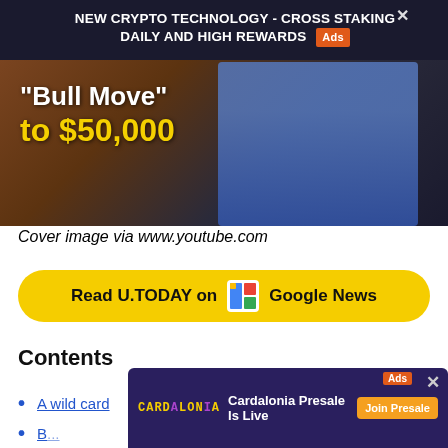[Figure (screenshot): Screenshot of a webpage showing a crypto advertisement banner reading 'NEW CRYPTO TECHNOLOGY - CROSS STAKING DAILY AND HIGH REWARDS' with an Ads badge and close button, overlaid on a photo of a man in a blue shirt with text overlay reading '"Bull Move" to $50,000']
Cover image via www.youtube.com
[Figure (other): Yellow rounded button with text 'Read U.TODAY on Google News' with Google News icon]
Contents
A wild card
[Figure (screenshot): Bottom advertisement banner for Cardalonia: 'Cardalonia Presale Is Live' with Join Presale button, Ads badge, and close X button]